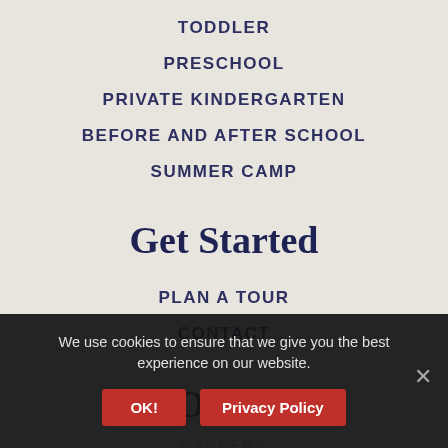TODDLER
PRESCHOOL
PRIVATE KINDERGARTEN
BEFORE AND AFTER SCHOOL
SUMMER CAMP
Get Started
PLAN A TOUR
CONTACT
Other
CAREERS
We use cookies to ensure that we give you the best experience on our website.
OK!
Privacy Policy